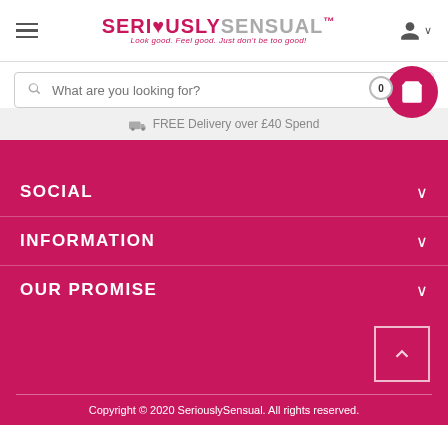[Figure (logo): SeriouslySensual logo with tagline 'Look good. Feel good. Just don't be too good!']
[Figure (screenshot): Search bar with placeholder 'What are you looking for?' and cart icon showing 0 items]
FREE Delivery over £40 Spend
SOCIAL
INFORMATION
OUR PROMISE
Copyright © 2020 SeriouslySensual. All rights reserved.